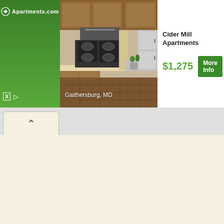[Figure (screenshot): Apartments.com advertisement banner showing Cider Mill Apartments in Gaithersburg, MD for $1,275 with a kitchen photo, green branded left panel, and More Info button]
Gaithersburg, MD
Cider Mill Apartments
$1,275
More Info
[Figure (screenshot): Browser tab bar showing a back/up chevron arrow tab and the main page content area with cream/off-white background]